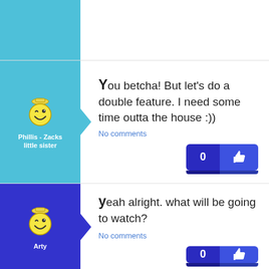[Figure (screenshot): Top partial row with blue avatar column (light blue) and white content area, no visible content]
[Figure (screenshot): Avatar of Phillis - Zacks little sister with smiley face icon on light blue background with arrow pointer]
You betcha! But let's do a double feature. I need some time outta the house :))
No comments
[Figure (other): Like button showing count 0 and thumbs up icon, dark blue]
[Figure (screenshot): Avatar of Arty with smiley face icon on dark blue/purple background with arrow pointer]
yeah alright. what will be going to watch?
No comments
[Figure (other): Like button showing count 0 and thumbs up icon, dark blue]